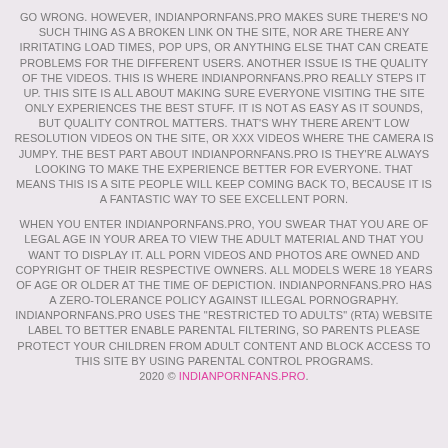GO WRONG. HOWEVER, INDIANPORNFANS.PRO MAKES SURE THERE'S NO SUCH THING AS A BROKEN LINK ON THE SITE, NOR ARE THERE ANY IRRITATING LOAD TIMES, POP UPS, OR ANYTHING ELSE THAT CAN CREATE PROBLEMS FOR THE DIFFERENT USERS. ANOTHER ISSUE IS THE QUALITY OF THE VIDEOS. THIS IS WHERE INDIANPORNFANS.PRO REALLY STEPS IT UP. THIS SITE IS ALL ABOUT MAKING SURE EVERYONE VISITING THE SITE ONLY EXPERIENCES THE BEST STUFF. IT IS NOT AS EASY AS IT SOUNDS, BUT QUALITY CONTROL MATTERS. THAT'S WHY THERE AREN'T LOW RESOLUTION VIDEOS ON THE SITE, OR XXX VIDEOS WHERE THE CAMERA IS JUMPY. THE BEST PART ABOUT INDIANPORNFANS.PRO IS THEY'RE ALWAYS LOOKING TO MAKE THE EXPERIENCE BETTER FOR EVERYONE. THAT MEANS THIS IS A SITE PEOPLE WILL KEEP COMING BACK TO, BECAUSE IT IS A FANTASTIC WAY TO SEE EXCELLENT PORN.
WHEN YOU ENTER INDIANPORNFANS.PRO, YOU SWEAR THAT YOU ARE OF LEGAL AGE IN YOUR AREA TO VIEW THE ADULT MATERIAL AND THAT YOU WANT TO DISPLAY IT. ALL PORN VIDEOS AND PHOTOS ARE OWNED AND COPYRIGHT OF THEIR RESPECTIVE OWNERS. ALL MODELS WERE 18 YEARS OF AGE OR OLDER AT THE TIME OF DEPICTION. INDIANPORNFANS.PRO HAS A ZERO-TOLERANCE POLICY AGAINST ILLEGAL PORNOGRAPHY. INDIANPORNFANS.PRO USES THE "RESTRICTED TO ADULTS" (RTA) WEBSITE LABEL TO BETTER ENABLE PARENTAL FILTERING, SO PARENTS PLEASE PROTECT YOUR CHILDREN FROM ADULT CONTENT AND BLOCK ACCESS TO THIS SITE BY USING PARENTAL CONTROL PROGRAMS.
2020 © INDIANPORNFANS.PRO.